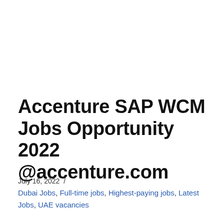Accenture SAP WCM Jobs Opportunity 2022 @accenture.com
July 16, 2022 /
Dubai Jobs, Full-time jobs, Highest-paying jobs, Latest Jobs, UAE vacancies